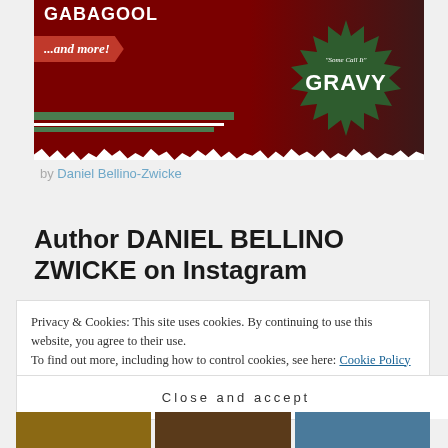[Figure (illustration): Book cover image with red background, 'GABAGOOL ...and more!' text, green and white stripes, and a dark green starburst badge reading 'Some Call It GRAVY' with a figure in black and white]
by Daniel Bellino-Zwicke
Author DANIEL BELLINO ZWICKE on Instagram
Privacy & Cookies: This site uses cookies. By continuing to use this website, you agree to their use.
To find out more, including how to control cookies, see here: Cookie Policy
Close and accept
[Figure (photo): Three small thumbnail images at the bottom of the page]